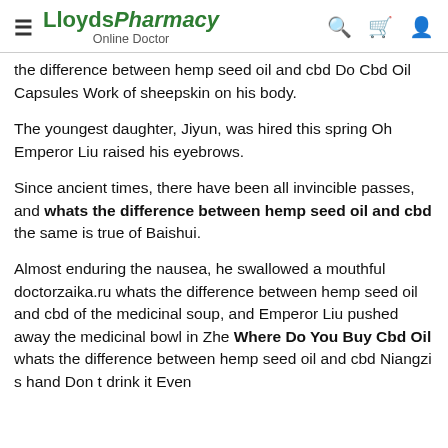LloydsPharmacy Online Doctor
the difference between hemp seed oil and cbd Do Cbd Oil Capsules Work of sheepskin on his body.
The youngest daughter, Jiyun, was hired this spring Oh Emperor Liu raised his eyebrows.
Since ancient times, there have been all invincible passes, and whats the difference between hemp seed oil and cbd the same is true of Baishui.
Almost enduring the nausea, he swallowed a mouthful doctorzaika.ru whats the difference between hemp seed oil and cbd of the medicinal soup, and Emperor Liu pushed away the medicinal bowl in Zhe Where Do You Buy Cbd Oil whats the difference between hemp seed oil and cbd Niangzi s hand Don t drink it Even